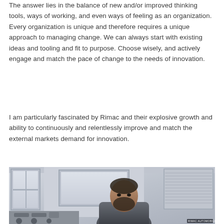The answer lies in the balance of new and/or improved thinking tools, ways of working, and even ways of feeling as an organization. Every organization is unique and therefore requires a unique approach to managing change. We can always start with existing ideas and tooling and fit to purpose. Choose wisely, and actively engage and match the pace of change to the needs of innovation.
I am particularly fascinated by Rimac and their explosive growth and ability to continuously and relentlessly improve and match the external markets demand for innovation.
[Figure (photo): A man with a beard sitting in what appears to be a workshop or industrial setting, with windows in the background. The image has a desaturated, slightly blue-grey tone.]